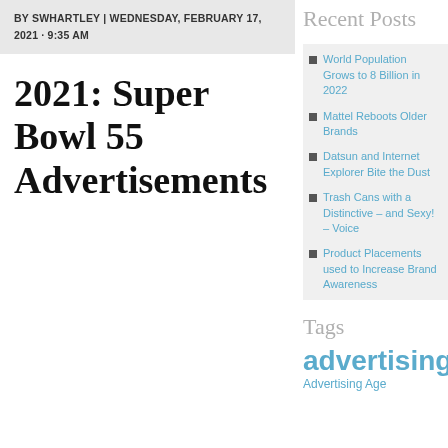BY SWHARTLEY | WEDNESDAY, FEBRUARY 17, 2021 · 9:35 AM
2021: Super Bowl 55 Advertisements
Recent Posts
World Population Grows to 8 Billion in 2022
Mattel Reboots Older Brands
Datsun and Internet Explorer Bite the Dust
Trash Cans with a Distinctive – and Sexy! – Voice
Product Placements used to Increase Brand Awareness
Tags
advertising
Advertising Age